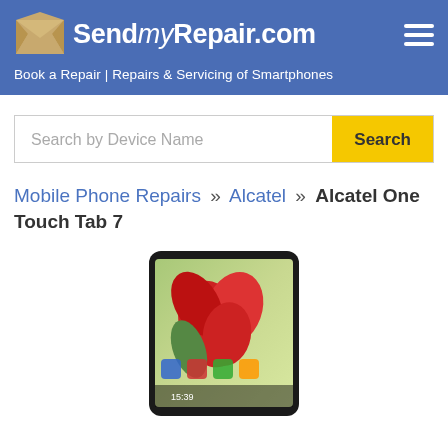SendmyRepair.com | Book a Repair | Repairs & Servicing of Smartphones
Search by Device Name
Mobile Phone Repairs » Alcatel » Alcatel One Touch Tab 7
[Figure (photo): Alcatel One Touch Tab 7 tablet device showing home screen with red flower wallpaper and time 15:39]